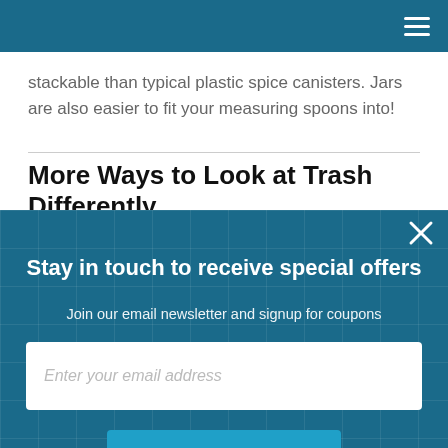≡
stackable than typical plastic spice canisters. Jars are also easier to fit your measuring spoons into!
More Ways to Look at Trash Differently
Now that you know how to reuse glass bottles and jars, are
Stay in touch to receive special offers
Join our email newsletter and signup for coupons
Enter your email address
Subscribe